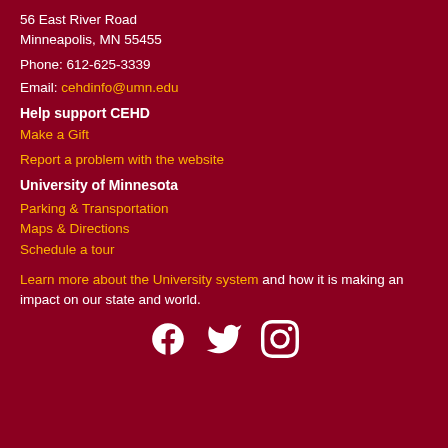56 East River Road
Minneapolis, MN 55455
Phone: 612-625-3339
Email: cehdinfo@umn.edu
Help support CEHD
Make a Gift
Report a problem with the website
University of Minnesota
Parking & Transportation
Maps & Directions
Schedule a tour
Learn more about the University system and how it is making an impact on our state and world.
[Figure (illustration): Social media icons: Facebook, Twitter, Instagram in white on dark red background]